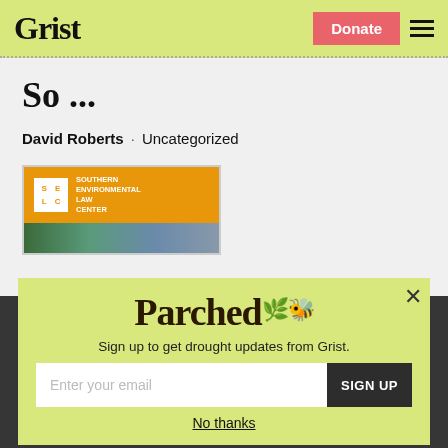Grist | Donate
So ...
David Roberts · Uncategorized
[Figure (logo): Southern Environmental Law Center (SELC) advertisement banner with orange background, SELC logo, and a landscape photo strip below]
[Figure (infographic): Parched newsletter signup modal overlay. Shows 'Parched' title with leaf/bee decoration, subtitle 'Sign up to get drought updates from Grist.', email input field, SIGN UP button, and 'No thanks' link. Background is a dark band over the page content.]
Sign up to get drought updates from Grist.
Enter your email
SIGN UP
No thanks